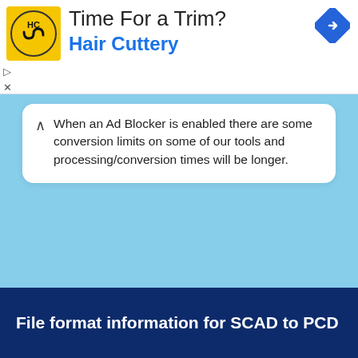[Figure (screenshot): Advertisement banner for Hair Cuttery with yellow HC logo, heading 'Time For a Trim?', brand name in blue, and a navigation arrow icon]
When an Ad Blocker is enabled there are some conversion limits on some of our tools and processing/conversion times will be longer.
File format information for SCAD to PCD